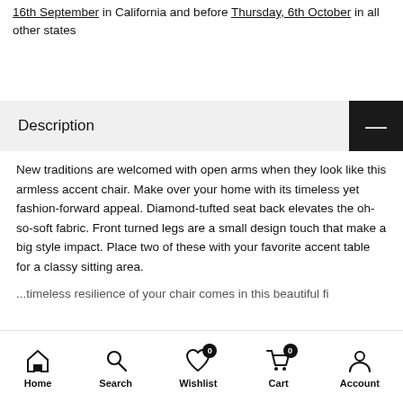16th September in California and before Thursday, 6th October in all other states
Description
New traditions are welcomed with open arms when they look like this armless accent chair. Make over your home with its timeless yet fashion-forward appeal. Diamond-tufted seat back elevates the oh-so-soft fabric. Front turned legs are a small design touch that make a big style impact. Place two of these with your favorite accent table for a classy sitting area.
Home  Search  Wishlist 0  Cart 0  Account